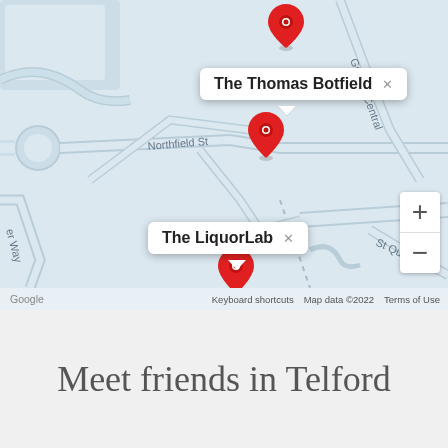[Figure (map): Google Maps screenshot showing Telford area with two red location pins: 'The Thomas Botfield' (top) and 'The LiquorLab' (bottom). Street labels include Northfield St, Grange Central, St Quent..., and er Way. Zoom controls (+/-) visible on right. Map data ©2022 Google.]
Meet friends in Telford